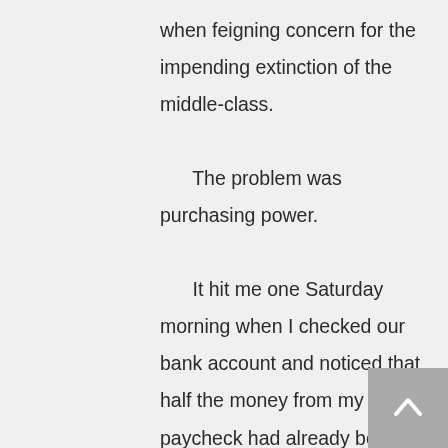when feigning concern for the impending extinction of the middle-class.

The problem was purchasing power.

It hit me one Saturday morning when I checked our bank account and noticed that half the money from my Friday paycheck had already been drained for pre-authorized debits. So Lisa and I decided to do the responsible thing: tighten our budget. We sat down and made a list of how much we
[Figure (other): Back to top button — grey square with white upward chevron arrow]